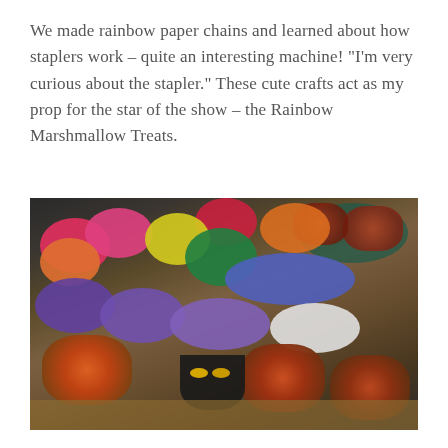We made rainbow paper chains and learned about how staplers work – quite an interesting machine! "I'm very curious about the stapler." These cute crafts act as my prop for the star of the show – the Rainbow Marshmallow Treats.
[Figure (photo): Photo of colorful rainbow paper chain loops arranged on a wooden table alongside cereal-based marshmallow treat balls, small black pot of gold cutouts with yellow coin decorations, and a tray of more treats in the background.]